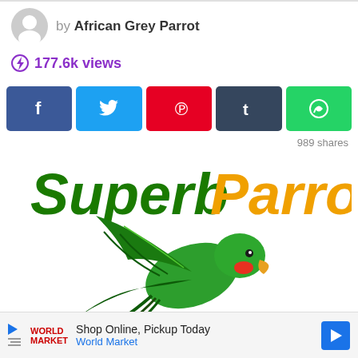by African Grey Parrot
177.6k views
[Figure (screenshot): Social share buttons: Facebook (dark blue), Twitter (light blue), Pinterest (red), Tumblr (dark slate), WhatsApp (green)]
989 shares
[Figure (logo): Superb Parrot logo with green text 'Superb' and orange text 'Parrot', with a flying green parrot bird image below]
Shop Online, Pickup Today
World Market